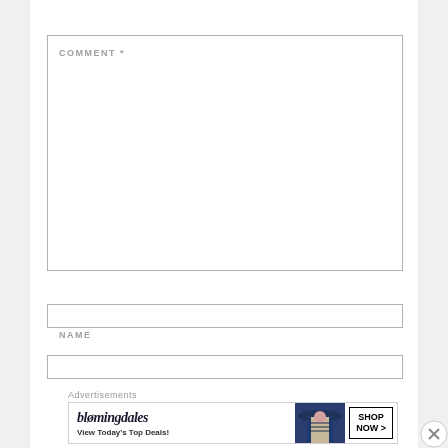COMMENT *
NAME
[Figure (screenshot): Web form with a large comment textarea, a name input field, and an email input field below. A close (X) button appears at bottom right. An advertisement banner for Bloomingdale's appears at the bottom with text 'bloomingdales' and 'View Today's Top Deals!' and a 'SHOP NOW >' button, with a woman in a hat.]
Advertisements